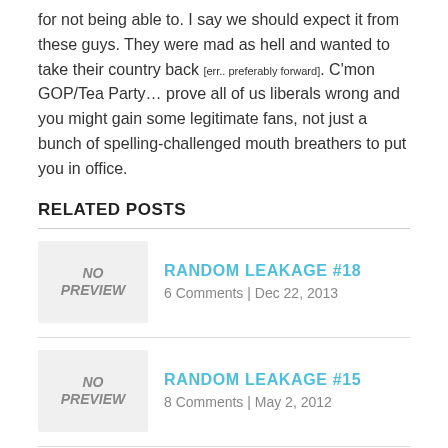for not being able to. I say we should expect it from these guys. They were mad as hell and wanted to take their country back [err.. preferably forward]. C'mon GOP/Tea Party… prove all of us liberals wrong and you might gain some legitimate fans, not just a bunch of spelling-challenged mouth breathers to put you in office.
RELATED POSTS
RANDOM LEAKAGE #18
6 Comments | Dec 22, 2013
RANDOM LEAKAGE #15
8 Comments | May 2, 2012
RANDOM LEAKAGE #1
17 Comments | Jun 17, 2008
RANDOM LEAKAGE #8